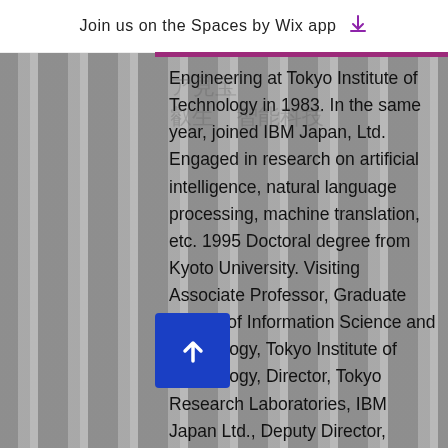Join us on the Spaces by Wix app
Engineering at Tokyo Institute of Technology in 1983. In the same year, joined IBM Japan, Ltd. Engaged in research on artificial intelligence, natural language processing, machine translation, etc. 1995 Doctoral degree from Kyoto University. Visiting Associate Professor, Graduate School of Information Science and Technology, Tokyo Institute of Technology, Director, Tokyo Research Laboratories, IBM Japan Ltd., Deputy Director, Digital Platform Development Division, Canon Inc., Professor, Institute of Statistical Mathematics, Institute for Information and Systems Research 2016 Appointed Chief Strategy Officer of Preferred Networks, Inc. Current position since April 2018.
[Figure (photo): Dark striped background with architectural or venetian blind-like vertical stripes in black and gray tones]